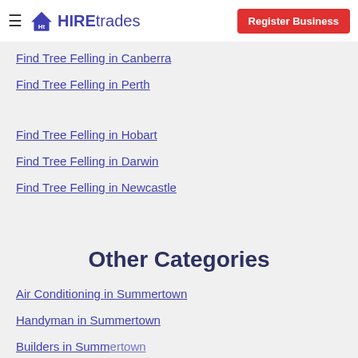HIREtrades | Register Business
Find Tree Felling in Canberra
Find Tree Felling in Perth
Find Tree Felling in Hobart
Find Tree Felling in Darwin
Find Tree Felling in Newcastle
Other Categories
Air Conditioning in Summertown
Handyman in Summertown
Builders in Summertown